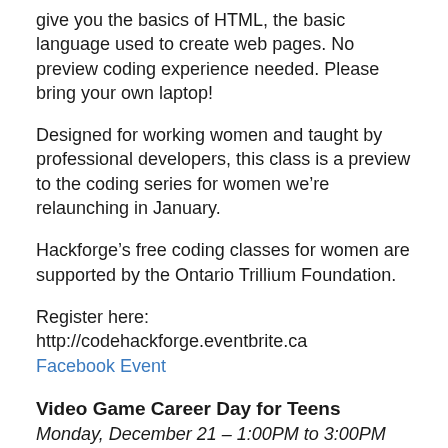give you the basics of HTML, the basic language used to create web pages. No preview coding experience needed. Please bring your own laptop!
Designed for working women and taught by professional developers, this class is a preview to the coding series for women we’re relaunching in January.
Hackforge’s free coding classes for women are supported by the Ontario Trillium Foundation.
Register here: http://codehackforge.eventbrite.ca
Facebook Event
Video Game Career Day for Teens
Monday, December 21 – 1:00PM to 3:00PM
Do you love video games? Wonder what it’s like to create games? Can you imagine a career inspired by your love of gaming?